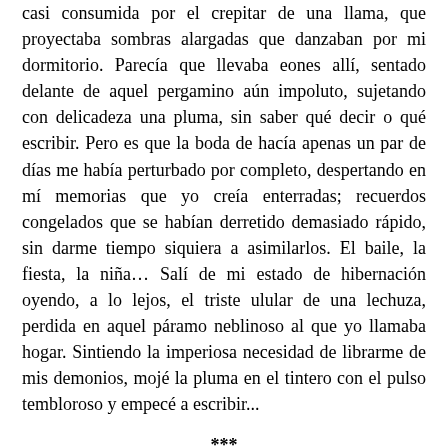casi consumida por el crepitar de una llama, que proyectaba sombras alargadas que danzaban por mi dormitorio. Parecía que llevaba eones allí, sentado delante de aquel pergamino aún impoluto, sujetando con delicadeza una pluma, sin saber qué decir o qué escribir. Pero es que la boda de hacía apenas un par de días me había perturbado por completo, despertando en mí memorias que yo creía enterradas; recuerdos congelados que se habían derretido demasiado rápido, sin darme tiempo siquiera a asimilarlos. El baile, la fiesta, la niña… Salí de mi estado de hibernación oyendo, a lo lejos, el triste ulular de una lechuza, perdida en aquel páramo neblinoso al que yo llamaba hogar. Sintiendo la imperiosa necesidad de librarme de mis demonios, mojé la pluma en el tintero con el pulso tembloroso y empecé a escribir...
***
La travesía fue larga e incómoda. La nieve y el hielo que cubrían las estepas siberianas no sólo habían entorpecido mi viaje, haciéndolo ingrato y fatigoso, sino que también habían